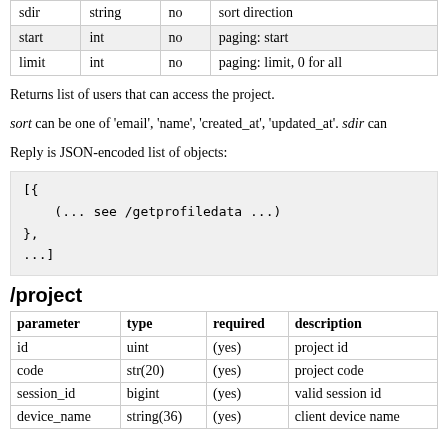| parameter | type | required | description |
| --- | --- | --- | --- |
| sdir | string | no | sort direction |
| start | int | no | paging: start |
| limit | int | no | paging: limit, 0 for all |
Returns list of users that can access the project.
sort can be one of 'email', 'name', 'created_at', 'updated_at'. sdir can...
Reply is JSON-encoded list of objects:
[{
    (... see /getprofiledata ...)
},
...]
/project
| parameter | type | required | description |
| --- | --- | --- | --- |
| id | uint | (yes) | project id |
| code | str(20) | (yes) | project code |
| session_id | bigint | (yes) | valid session id |
| device_name | string(36) | (yes) | client device name |